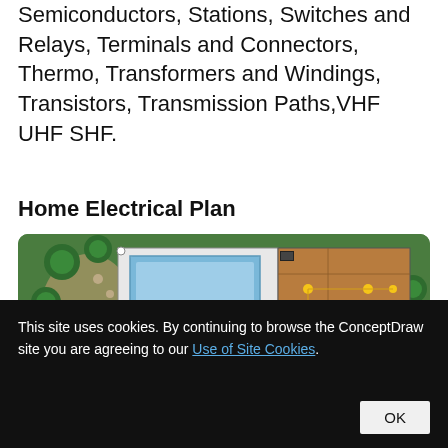Semiconductors, Stations, Switches and Relays, Terminals and Connectors, Thermo, Transformers and Windings, Transistors, Transmission Paths,VHF UHF SHF.
Home Electrical Plan
[Figure (illustration): Home electrical plan floor plan view showing a house layout with swimming pool, green garden with shrubs and trees, wooden deck areas, and electrical symbols (outlets, switches, light fixtures) connected by wiring paths, rendered in a top-down 2D software diagram style.]
This site uses cookies. By continuing to browse the ConceptDraw site you are agreeing to our Use of Site Cookies.